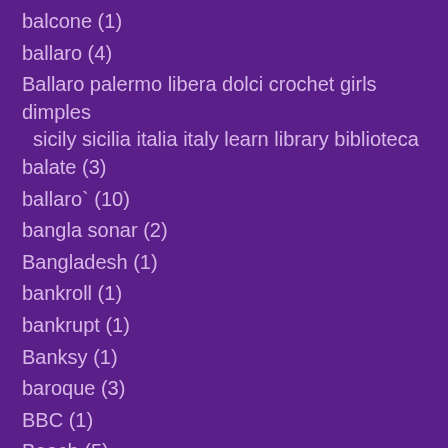balcone (1)
ballaro (4)
Ballaro palermo libera dolci crochet girls dimples sicily sicilia italia italy learn library biblioteca balate (3)
ballaro` (10)
bangla sonar (2)
Bangladesh (1)
bankroll (1)
bankrupt (1)
Banksy (1)
baroque (3)
BBC (1)
Beach (5)
bearers (1)
beautiful (3)
Beauty (34)
beep (1)
Behold the Man (1)
bellezza (2)